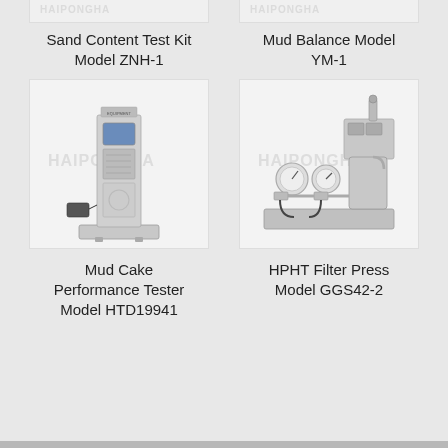[Figure (photo): Partial top view of Sand Content Test Kit Model ZNH-1 (cropped at top)]
Sand Content Test Kit
Model ZNH-1
[Figure (photo): Partial top view of Mud Balance Model YM-1 (cropped at top)]
Mud Balance Model
YM-1
[Figure (photo): Mud Cake Performance Tester Model HTD19941 - a tall vertical laboratory instrument with display screen and power adapter]
Mud Cake
Performance Tester
Model HTD19941
[Figure (photo): HPHT Filter Press Model GGS42-2 - a bench-top high pressure filtration instrument with gauges and cylinder]
HPHT Filter Press
Model GGS42-2